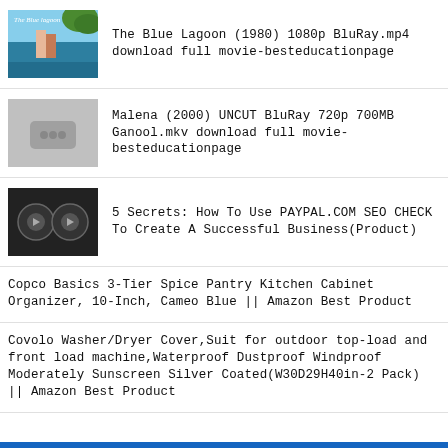The Blue Lagoon (1980) 1080p BluRay.mp4 download full movie-besteducationpage
Malena (2000) UNCUT BluRay 720p 700MB Ganool.mkv download full movie-besteducationpage
5 Secrets: How To Use PAYPAL.COM SEO CHECK To Create A Successful Business(Product)
Copco Basics 3-Tier Spice Pantry Kitchen Cabinet Organizer, 10-Inch, Cameo Blue || Amazon Best Product
Covolo Washer/Dryer Cover,Suit for outdoor top-load and front load machine,Waterproof Dustproof Windproof Moderately Sunscreen Silver Coated(W30D29H40in-2 Pack) || Amazon Best Product